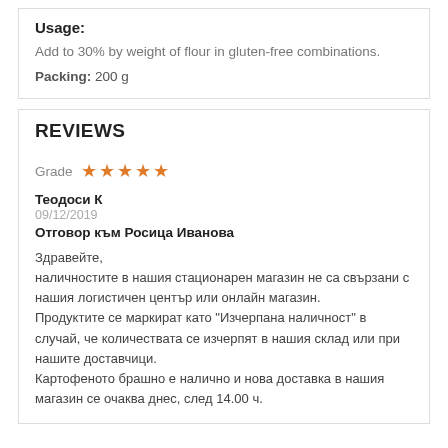Usage:
Add to 30% by weight of flour in gluten-free combinations.
Packing: 200 g
REVIEWS
Grade ★★★★★
Теодоси К
09/12/2019
Отговор към Росица Иванова
Здравейте,
наличностите в нашия стационарен магазин не са свързани с нашия логистичен център или онлайн магазин.
Продуктите се маркират като "Изчерпана наличност" в случай, че количествата се изчерпят в нашия склад или при нашите доставчици.
Картофеното брашно е налично и нова доставка в нашия магазин се очаква днес, след 14.00 ч.